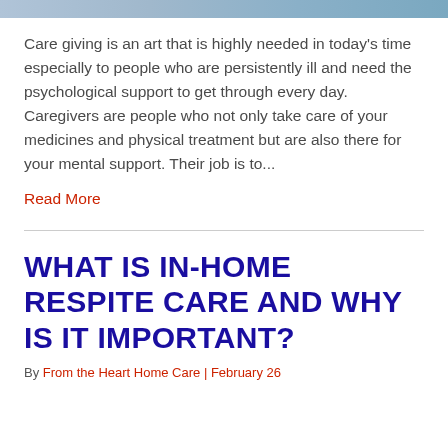[Figure (photo): Partial image strip at top of page, appears to be a photo related to caregiving]
Care giving is an art that is highly needed in today's time especially to people who are persistently ill and need the psychological support to get through every day. Caregivers are people who not only take care of your medicines and physical treatment but are also there for your mental support. Their job is to...
Read More
WHAT IS IN-HOME RESPITE CARE AND WHY IS IT IMPORTANT?
By From the Heart Home Care | February 26